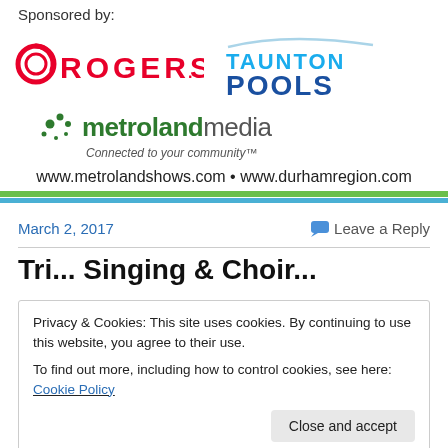Sponsored by:
[Figure (logo): Rogers logo (red circle icon) and Taunton Pools logo (blue stylized text)]
[Figure (logo): Metroland Media logo with green dots and tagline 'Connected to your community']
www.metrolandshows.com • www.durhamregion.com
March 2, 2017
Leave a Reply
Tri... Singing & Choir...
Privacy & Cookies: This site uses cookies. By continuing to use this website, you agree to their use.
To find out more, including how to control cookies, see here: Cookie Policy
Close and accept
a unique approach to choral singing.